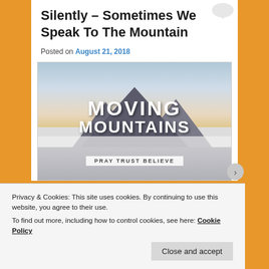Silently – Sometimes We Speak To The Mountain
Posted on August 21, 2018
[Figure (photo): Mountain scene image with text overlay reading 'MOVING MOUNTAINS' and 'PRAY TRUST BELIEVE' on a banner at the bottom]
Privacy & Cookies: This site uses cookies. By continuing to use this website, you agree to their use.
To find out more, including how to control cookies, see here: Cookie Policy
Close and accept